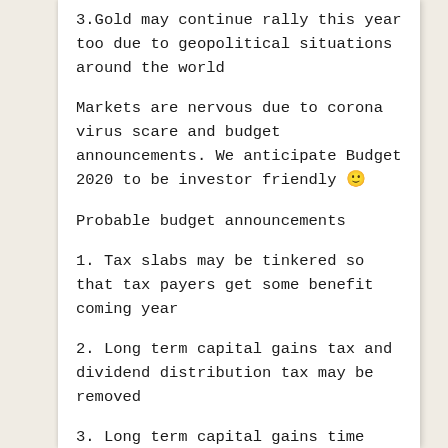3.Gold may continue rally this year too due to geopolitical situations around the world
Markets are nervous due to corona virus scare and budget announcements. We anticipate Budget 2020 to be investor friendly 🙂
Probable budget announcements
1. Tax slabs may be tinkered so that tax payers get some benefit coming year
2. Long term capital gains tax and dividend distribution tax may be removed
3. Long term capital gains time line maybe revised from 12 to 24 months – discourages from early redemption in equity based funds
4. Dividends will be taxed as per investor tax